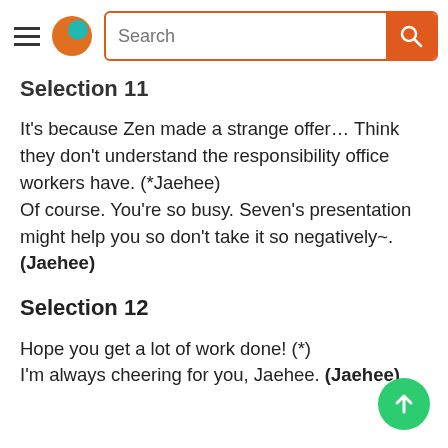Search (navigation bar with hamburger menu, logo, search field, search button)
Selection 11
It's because Zen made a strange offer… Think they don't understand the responsibility office workers have. (*Jaehee)
Of course. You're so busy. Seven's presentation might help you so don't take it so negatively~. (Jaehee)
Selection 12
Hope you get a lot of work done! (*)
I'm always cheering for you, Jaehee. (Jaehee)